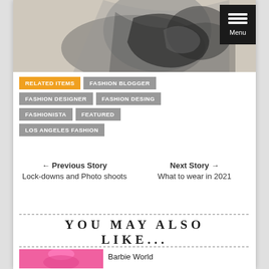[Figure (photo): Black and white art/fashion photo at top of page, partially visible]
RELATED ITEMS
FASHION BLOGGER
FASHION DESIGNER
FASHION DESING
FASHIONISTA
FEATURED
LOS ANGELES FASHION
← Previous Story
Lock-downs and Photo shoots
Next Story →
What to wear in 2021
YOU MAY ALSO LIKE...
Barbie World